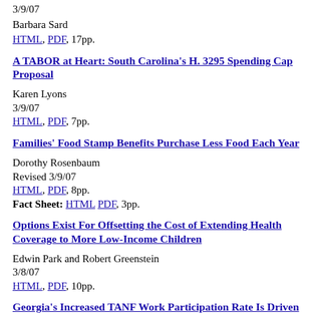3/9/07
Barbara Sard
HTML, PDF, 17pp.
A TABOR at Heart: South Carolina's H. 3295 Spending Cap Proposal
Karen Lyons
3/9/07
HTML, PDF, 7pp.
Families' Food Stamp Benefits Purchase Less Food Each Year
Dorothy Rosenbaum
Revised 3/9/07
HTML, PDF, 8pp.
Fact Sheet: HTML PDF, 3pp.
Options Exist For Offsetting the Cost of Extending Health Coverage to More Low-Income Children
Edwin Park and Robert Greenstein
3/8/07
HTML, PDF, 10pp.
Georgia's Increased TANF Work Participation Rate Is Driven By Sharp Caseload Decline: Available Data Raise Questions About Whether Georgia Should Be Labeled As A